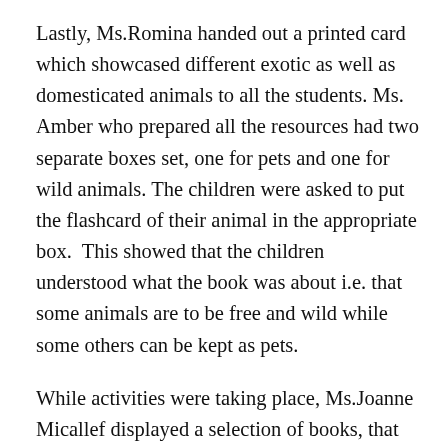Lastly, Ms.Romina handed out a printed card which showcased different exotic as well as domesticated animals to all the students. Ms. Amber who prepared all the resources had two separate boxes set, one for pets and one for wild animals. The children were asked to put the flashcard of their animal in the appropriate box. This showed that the children understood what the book was about i.e. that some animals are to be free and wild while some others can be kept as pets.
While activities were taking place, Ms.Joanne Micallef displayed a selection of books, that parents could purchase. Parents were served some refreshments.